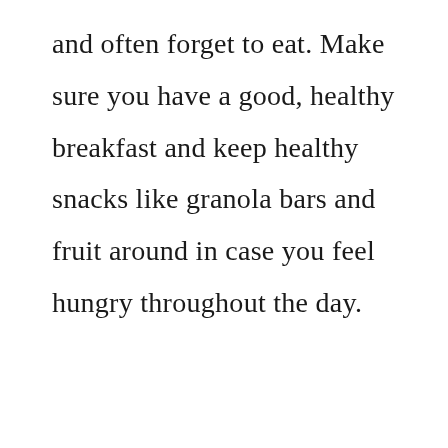and often forget to eat. Make sure you have a good, healthy breakfast and keep healthy snacks like granola bars and fruit around in case you feel hungry throughout the day.